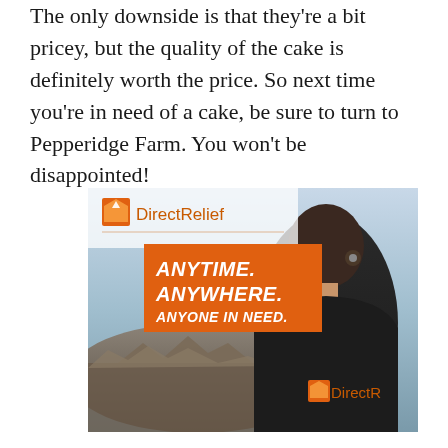The only downside is that they're a bit pricey, but the quality of the cake is definitely worth the price. So next time you're in need of a cake, be sure to turn to Pepperidge Farm. You won't be disappointed!
[Figure (photo): Direct Relief advertisement showing a person from behind wearing a black jacket with Direct Relief logo, looking over a rubble/disaster scene. The ad features the Direct Relief logo at the top and the text 'ANYTIME. ANYWHERE. ANYONE IN NEED.' on an orange box.]